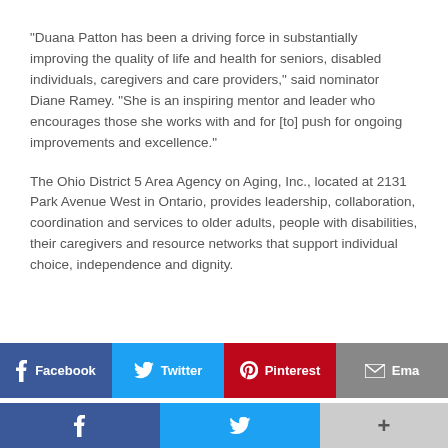“Duana Patton has been a driving force in substantially improving the quality of life and health for seniors, disabled individuals, caregivers and care providers,” said nominator Diane Ramey. “She is an inspiring mentor and leader who encourages those she works with and for [to] push for ongoing improvements and excellence.”
The Ohio District 5 Area Agency on Aging, Inc., located at 2131 Park Avenue West in Ontario, provides leadership, collaboration, coordination and services to older adults, people with disabilities, their caregivers and resource networks that support individual choice, independence and dignity.
[Figure (infographic): Social sharing buttons: Facebook (blue), Twitter (light blue), Pinterest (red), Email (gray), partially visible]
[Figure (infographic): Bottom social sharing bar: Facebook (blue), Twitter (light blue), More/Plus (gray)]